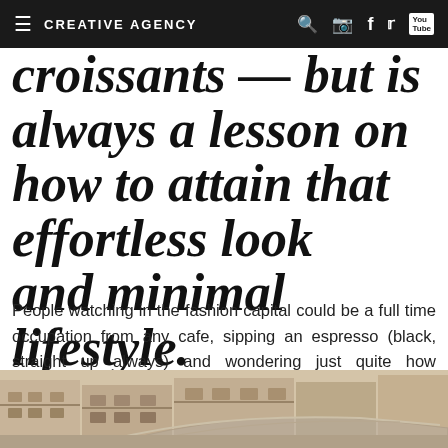CREATIVE AGENCY
croissants — but is always a lesson on how to attain that effortless look and minimal lifestyle.
People watching in the fashion capital could be a full time occupation from any cafe, sipping an espresso (black, straight up always) and wondering just quite how Parisians look so effortlessly chic. It's a look which has been home to some of the biggest style icons and brands of all time, from Dior to Hermès to Isabel Marant — of course there must be something in the air.
[Figure (photo): Street-level photograph of a Parisian building facade with ornate architecture, balconies with iron railings, and a glass canopy structure in the foreground]